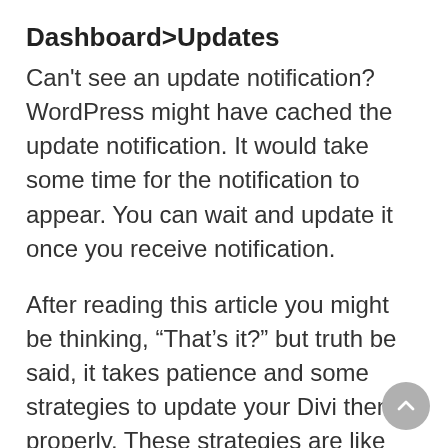Dashboard>Updates
Can't see an update notification? WordPress might have cached the update notification. It would take some time for the notification to appear. You can wait and update it once you receive notification.
After reading this article you might be thinking, “That’s it?” but truth be said, it takes patience and some strategies to update your Divi theme properly. These strategies are like chefs kiss, or may I say, a designers